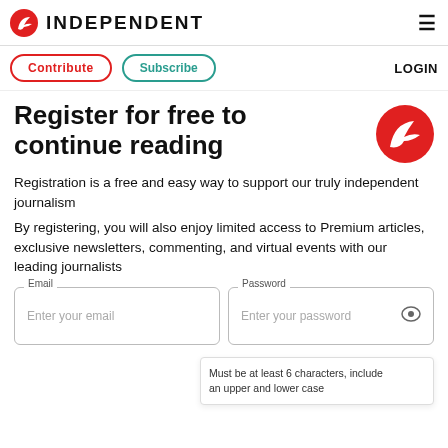INDEPENDENT
Contribute  Subscribe  LOGIN
Register for free to continue reading
Registration is a free and easy way to support our truly independent journalism
By registering, you will also enjoy limited access to Premium articles, exclusive newsletters, commenting, and virtual events with our leading journalists
Email  Enter your email  Password  Enter your password
Must be at least 6 characters, include an upper and lower case